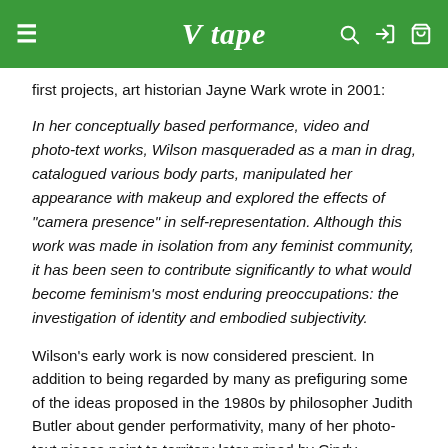V tape
first projects, art historian Jayne Wark wrote in 2001:
In her conceptually based performance, video and photo-text works, Wilson masqueraded as a man in drag, catalogued various body parts, manipulated her appearance with makeup and explored the effects of "camera presence" in self-representation. Although this work was made in isolation from any feminist community, it has been seen to contribute significantly to what would become feminism's most enduring preoccupations: the investigation of identity and embodied subjectivity.
Wilson's early work is now considered prescient. In addition to being regarded by many as prefiguring some of the ideas proposed in the 1980s by philosopher Judith Butler about gender performativity, many of her photo-text pieces point to territory later mined by Cindy Sherman, among many other contemporary artists.